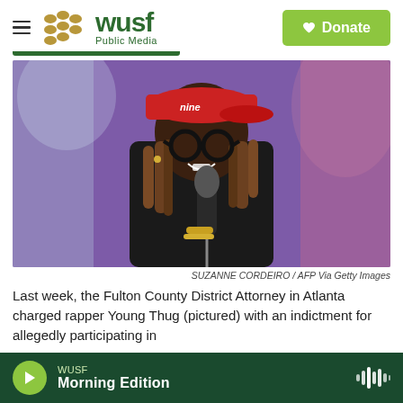WUSF Public Media — Donate
[Figure (photo): Rapper Young Thug performing on stage, wearing a red cap and black glasses, holding a microphone, with a purple/blue stage background]
SUZANNE CORDEIRO / AFP Via Getty Images
Last week, the Fulton County District Attorney in Atlanta charged rapper Young Thug (pictured) with an indictment for allegedly participating in
WUSF Morning Edition